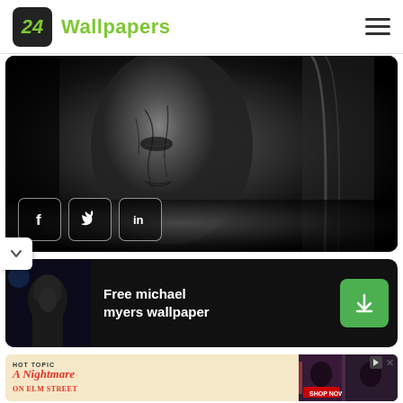24 Wallpapers
[Figure (photo): Black and white close-up of a horror movie character face (Michael Myers mask) with cracked, weathered texture, with social media buttons (Facebook, Twitter, LinkedIn) overlaid at bottom left]
[Figure (photo): Dark card showing Michael Myers in shadow with text 'Free michael myers wallpaper' and a green download button on the right]
[Figure (screenshot): Advertisement banner for Hot Topic featuring 'A Nightmare on Elm Street' with two people in horror merchandise on the right side]